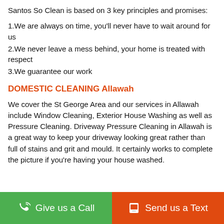Santos So Clean is based on 3 key principles and promises:
1.We are always on time, you'll never have to wait around for us
2.We never leave a mess behind, your home is treated with respect
3.We guarantee our work
DOMESTIC CLEANING Allawah
We cover the St George Area and our services in Allawah include Window Cleaning, Exterior House Washing as well as Pressure Cleaning. Driveway Pressure Cleaning in Allawah is a great way to keep your driveway looking great rather than full of stains and grit and mould. It certainly works to complete the picture if you're having your house washed.
Give us a Call | Send us a Text